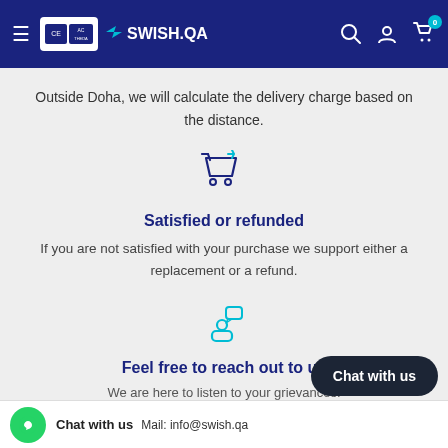SWISH.QA — navigation header with hamburger menu, logo, search, account, and cart icons
Outside Doha, we will calculate the delivery charge based on the distance.
[Figure (illustration): Shopping cart with return arrow icon in dark blue outline style]
Satisfied or refunded
If you are not satisfied with your purchase we support either a replacement or a refund.
[Figure (illustration): Person with speech bubble icon in teal/dark blue outline style]
Feel free to reach out to us
We are here to listen to your grievances.
Chat with us   Mail: info@swish.qa   Call: +974 4443 2560